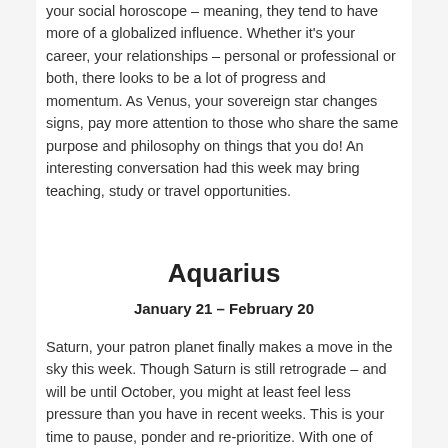your social horoscope – meaning, they tend to have more of a globalized influence. Whether it's your career, your relationships – personal or professional or both, there looks to be a lot of progress and momentum. As Venus, your sovereign star changes signs, pay more attention to those who share the same purpose and philosophy on things that you do! An interesting conversation had this week may bring teaching, study or travel opportunities.
Aquarius
January 21 – February 20
Saturn, your patron planet finally makes a move in the sky this week. Though Saturn is still retrograde – and will be until October, you might at least feel less pressure than you have in recent weeks. This is your time to pause, ponder and re-prioritize. With one of your social